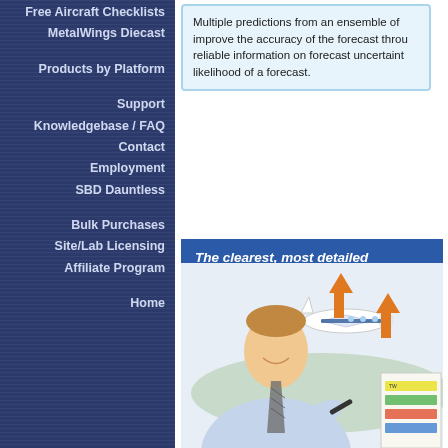Free Aircraft Checklists
MetalWings Diecast
Products by Platform
Support
Knowledgebase / FAQ
Contact
Employment
SBD Dauntless
Bulk Purchases
Site/Lab Licensing
Affiliate Program
Home
Multiple predictions from an ensemble of ... improve the accuracy of the forecast throu... reliable information on forecast uncertaint... likelihood of a forecast.
The clearest, most detailed and free lifetime updates.
[Figure (photo): Young man in light blue shirt and striped tie smiling, holding a pen, with an airplane graphic and chart in the background]